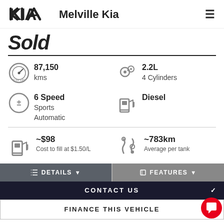[Figure (logo): Kia logo and Melville Kia dealer name with hamburger menu]
Sold
87,150 kms
2.2L 4 Cylinders
6 Speed Sports Automatic
Diesel
~$98 Cost to fill at $1.50/L
~783km Average per tank
DETAILS
FEATURES
CONTACT US
FINANCE THIS VEHICLE